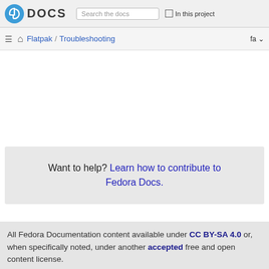Fedora DOCS — Search the docs — In this project
Flatpak / Troubleshooting  fa
Want to help? Learn how to contribute to Fedora Docs.
All Fedora Documentation content available under CC BY-SA 4.0 or, when specifically noted, under another accepted free and open content license.